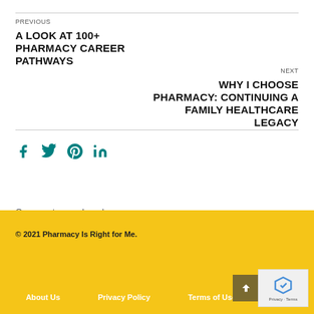PREVIOUS
A LOOK AT 100+ PHARMACY CAREER PATHWAYS
NEXT
WHY I CHOOSE PHARMACY: CONTINUING A FAMILY HEALTHCARE LEGACY
[Figure (infographic): Social media share icons: Facebook, Twitter, Pinterest, LinkedIn in teal color]
Comments are closed.
© 2021 Pharmacy Is Right for Me.
About Us   Privacy Policy   Terms of Use   Site